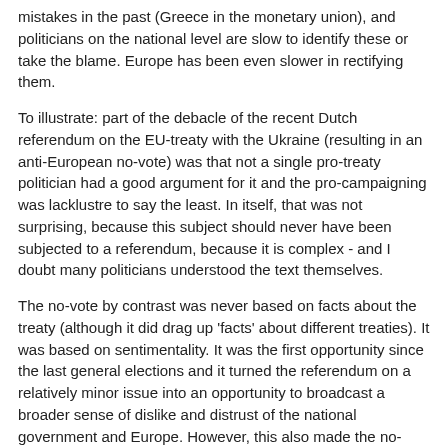mistakes in the past (Greece in the monetary union), and politicians on the national level are slow to identify these or take the blame. Europe has been even slower in rectifying them.
To illustrate: part of the debacle of the recent Dutch referendum on the EU-treaty with the Ukraine (resulting in an anti-European no-vote) was that not a single pro-treaty politician had a good argument for it and the pro-campaigning was lacklustre to say the least. In itself, that was not surprising, because this subject should never have been subjected to a referendum, because it is complex - and I doubt many politicians understood the text themselves.
The no-vote by contrast was never based on facts about the treaty (although it did drag up 'facts' about different treaties). It was based on sentimentality. It was the first opportunity since the last general elections and it turned the referendum on a relatively minor issue into an opportunity to broadcast a broader sense of dislike and distrust of the national government and Europe. However, this also made the no-camp much easier to identify with.
Also, when things go well (Schengen), the national government is there to take the credit.
When things go wrong, national elected representatives are the first